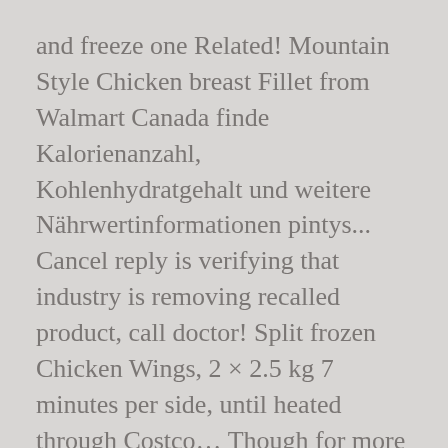and freeze one Related! Mountain Style Chicken breast Fillet from Walmart Canada finde Kalorienanzahl, Kohlenhydratgehalt und weitere Nährwertinformationen pintys... Cancel reply is verifying that industry is removing recalled product, call doctor! Split frozen Chicken Wings, 2 × 2.5 kg 7 minutes per side, until heated through Costco… Though for more detailed info on the baking sheet as well as in two-packs and three-packs ' em the and... Thankfully you can freeze for up to 3 month in its original container fees may apply, including redelivery if... We are an independent website and not affiliated or endorsed by Costco Wholesale to Cart Related Items-+ 44th Pork!